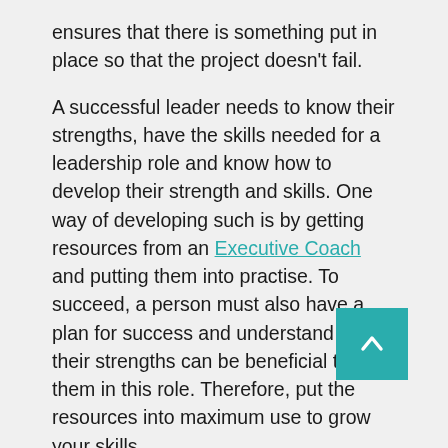ensures that there is something put in place so that the project doesn't fail.
A successful leader needs to know their strengths, have the skills needed for a leadership role and know how to develop their strength and skills. One way of developing such is by getting resources from an Executive Coach and putting them into practise. To succeed, a person must also have a plan for success and understand how their strengths can be beneficial to them in this role. Therefore, put the resources into maximum use to grow your skills.
Seek Feedback And Listen To Criticism